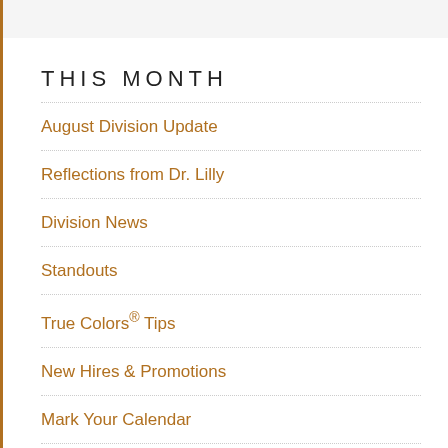THIS MONTH
August Division Update
Reflections from Dr. Lilly
Division News
Standouts
True Colors® Tips
New Hires & Promotions
Mark Your Calendar
In the News